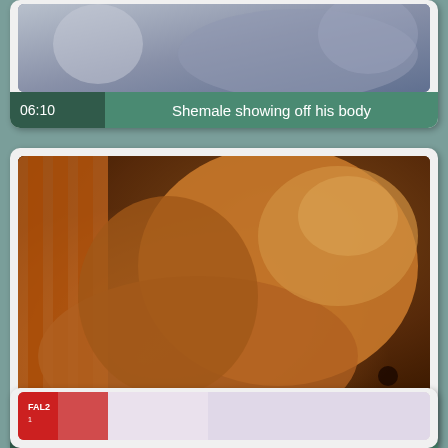[Figure (screenshot): Video thumbnail card 1 showing figures on a bed, partially cropped at top]
06:10  Shemale showing off his body
[Figure (screenshot): Video thumbnail card 2 showing close-up scene with brown tones]
10:04  Sexy shemale cumming hard
[Figure (screenshot): Video thumbnail card 3, partially visible at bottom]